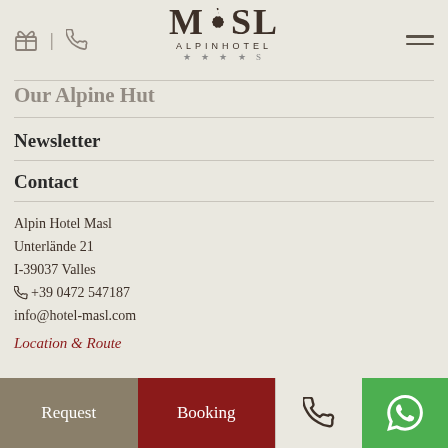MASL ALPINHOTEL ★★★★S
Newsletter
Contact
Alpin Hotel Masl
Unterlände 21
I-39037 Valles
☎ +39 0472 547187
info@hotel-masl.com
Location & Route